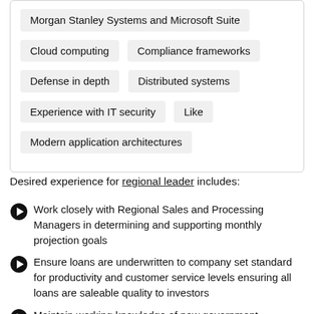[Figure (other): Tag/chip UI elements showing skill keywords: Morgan Stanley Systems and Microsoft Suite (partial), Cloud computing, Compliance frameworks, Defense in depth, Distributed systems, Experience with IT security, Like, Modern application architectures]
Desired experience for regional leader includes:
Work closely with Regional Sales and Processing Managers in determining and supporting monthly projection goals
Ensure loans are underwritten to company set standard for productivity and customer service levels ensuring all loans are saleable quality to investors
Maintain working knowledge of new government regulations, in addition to all company products,